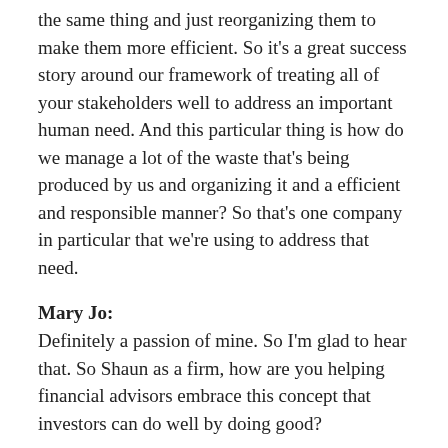the same thing and just reorganizing them to make them more efficient. So it's a great success story around our framework of treating all of your stakeholders well to address an important human need. And this particular thing is how do we manage a lot of the waste that's being produced by us and organizing it and a efficient and responsible manner? So that's one company in particular that we're using to address that need.
Mary Jo:
Definitely a passion of mine. So I'm glad to hear that. So Shaun as a firm, how are you helping financial advisors embrace this concept that investors can do well by doing good?
Shaun:
So for me so I'm meeting with financial